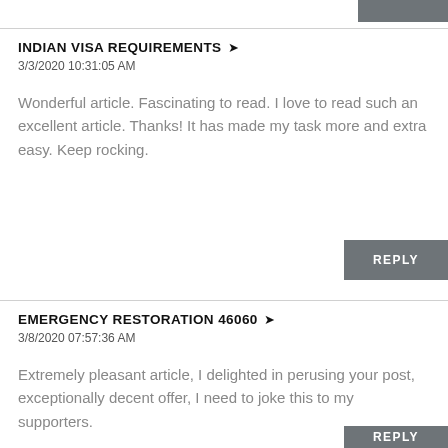INDIAN VISA REQUIREMENTS
3/3/2020 10:31:05 AM
Wonderful article. Fascinating to read. I love to read such an excellent article. Thanks! It has made my task more and extra easy. Keep rocking.
EMERGENCY RESTORATION 46060
3/8/2020 07:57:36 AM
Extremely pleasant article, I delighted in perusing your post, exceptionally decent offer, I need to joke this to my supporters.